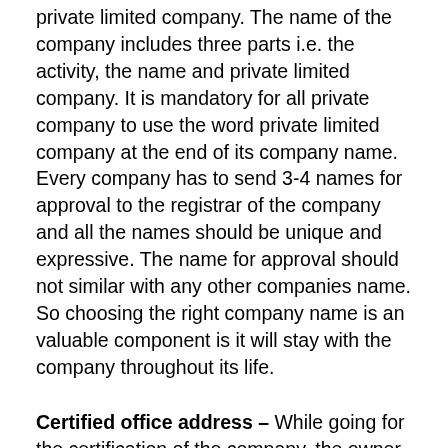private limited company. The name of the company includes three parts i.e. the activity, the name and private limited company. It is mandatory for all private company to use the word private limited company at the end of its company name. Every company has to send 3-4 names for approval to the registrar of the company and all the names should be unique and expressive. The name for approval should not similar with any other companies name. So choosing the right company name is an valuable component is it will stay with the company throughout its life.
Certified office address – While going for the certification of the company, the owner should grant the temporary address of the